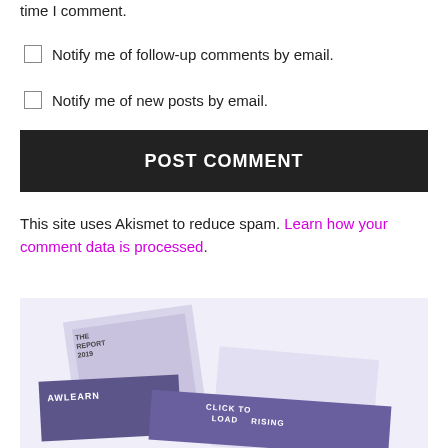time I comment.
Notify me of follow-up comments by email.
Notify me of new posts by email.
POST COMMENT
This site uses Akismet to reduce spam. Learn how your comment data is processed.
[Figure (photo): Faded/light image showing overlapping report/book covers with text including 'THE REPORT 2019', 'AWLEARN', 'CLICK TO', 'LOAD', 'RISING']